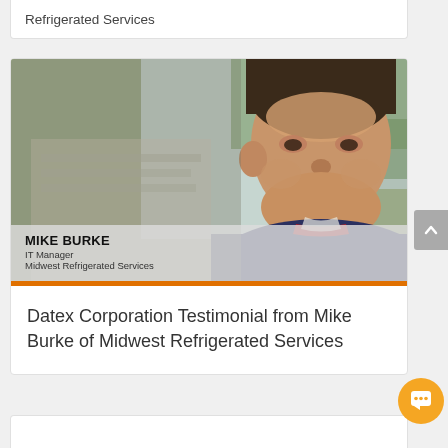Refrigerated Services
[Figure (photo): Video thumbnail photo of Mike Burke, a middle-aged man in a navy polo shirt, with a semi-transparent name bar overlay reading: MIKE BURKE / IT Manager / Midwest Refrigerated Services]
Datex Corporation Testimonial from Mike Burke of Midwest Refrigerated Services